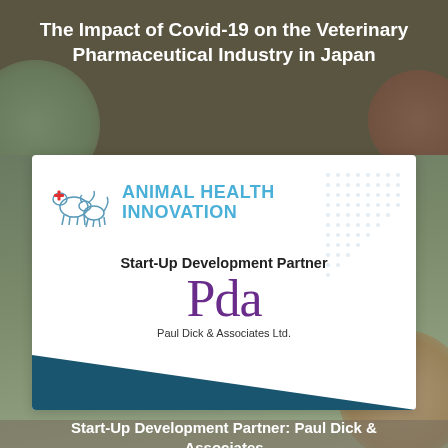The Impact of Covid-19 on the Veterinary Pharmaceutical Industry in Japan
[Figure (logo): Animal Health Innovation logo with Start-Up Development Partner label and Pda (Paul Dick & Associates Ltd.) logo on a white card with teal triangle at bottom]
Start-Up Development Partner: Paul Dick & Associates